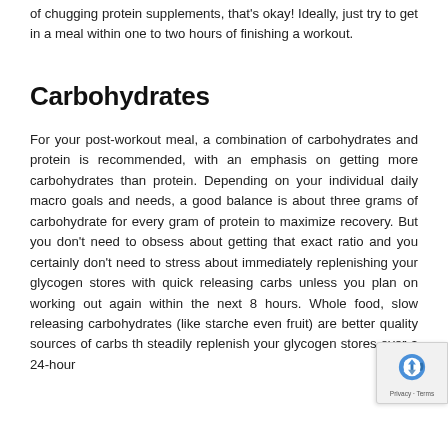of chugging protein supplements, that's okay! Ideally, just try to get in a meal within one to two hours of finishing a workout.
Carbohydrates
For your post-workout meal, a combination of carbohydrates and protein is recommended, with an emphasis on getting more carbohydrates than protein. Depending on your individual daily macro goals and needs, a good balance is about three grams of carbohydrate for every gram of protein to maximize recovery. But you don't need to obsess about getting that exact ratio and you certainly don't need to stress about immediately replenishing your glycogen stores with quick releasing carbs unless you plan on working out again within the next 8 hours. Whole food, slow releasing carbohydrates (like starche even fruit) are better quality sources of carbs th steadily replenish your glycogen stores over a 24-hour
[Figure (other): reCAPTCHA badge overlay showing the reCAPTCHA logo and 'Privacy · Terms' text]